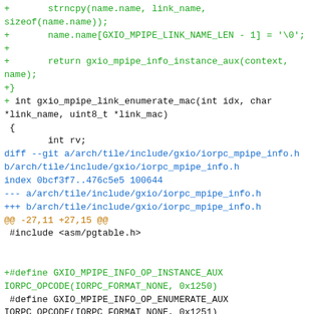+ strncpy(name.name, link_name, sizeof(name.name));
+       name.name[GXIO_MPIPE_LINK_NAME_LEN - 1] = '\0';
+
+       return gxio_mpipe_info_instance_aux(context, name);
+}
+
 int gxio_mpipe_link_enumerate_mac(int idx, char *link_name, uint8_t *link_mac)
 {
         int rv;
diff --git a/arch/tile/include/gxio/iorpc_mpipe_info.h b/arch/tile/include/gxio/iorpc_mpipe_info.h
index 0bcf3f7..476c5e5 100644
--- a/arch/tile/include/gxio/iorpc_mpipe_info.h
+++ b/arch/tile/include/gxio/iorpc_mpipe_info.h
@@ -27,11 +27,15 @@
 #include <asm/pgtable.h>


+#define GXIO_MPIPE_INFO_OP_INSTANCE_AUX IORPC_OPCODE(IORPC_FORMAT_NONE, 0x1250)
 #define GXIO_MPIPE_INFO_OP_ENUMERATE_AUX IORPC_OPCODE(IORPC_FORMAT_NONE, 0x1251)
 #define GXIO_MPIPE_INFO_OP_GET_MMIO_BASE IORPC_OPCODE(IORPC_FORMAT_NONE_NOUSER, 0x8000)
 #define GXIO_MPIPE_INFO_OP_CHECK_MMIO_OFFSET IORPC_OPCODE(IORPC_FORMAT_NONE_NOUSER, 0x8001)